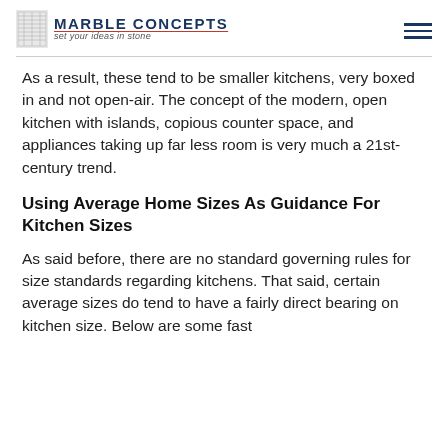MARBLE CONCEPTS set your ideas in stone
As a result, these tend to be smaller kitchens, very boxed in and not open-air. The concept of the modern, open kitchen with islands, copious counter space, and appliances taking up far less room is very much a 21st-century trend.
Using Average Home Sizes As Guidance For Kitchen Sizes
As said before, there are no standard governing rules for size standards regarding kitchens. That said, certain average sizes do tend to have a fairly direct bearing on kitchen size. Below are some fast